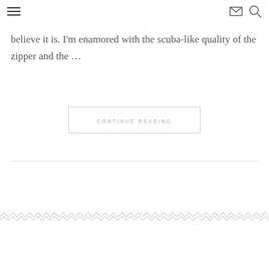navigation header with hamburger menu and icons
believe it is. I'm enamored with the scuba-like quality of the zipper and the …
CONTINUE READING
[Figure (illustration): Decorative zigzag/chevron border pattern in light gray]